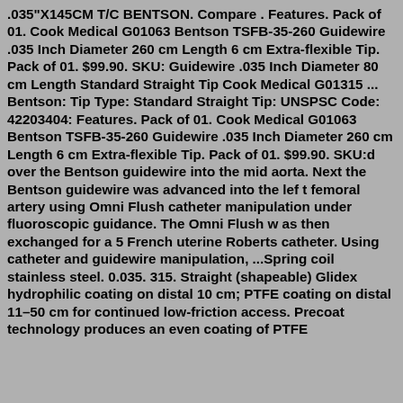.035"X145CM T/C BENTSON. Compare . Features. Pack of 01. Cook Medical G01063 Bentson TSFB-35-260 Guidewire .035 Inch Diameter 260 cm Length 6 cm Extra-flexible Tip. Pack of 01. $99.90. SKU: Guidewire .035 Inch Diameter 80 cm Length Standard Straight Tip Cook Medical G01315 ... Bentson: Tip Type: Standard Straight Tip: UNSPSC Code: 42203404: Features. Pack of 01. Cook Medical G01063 Bentson TSFB-35-260 Guidewire .035 Inch Diameter 260 cm Length 6 cm Extra-flexible Tip. Pack of 01. $99.90. SKU:d over the Bentson guidewire into the mid aorta. Next the Bentson guidewire was advanced into the lef t femoral artery using Omni Flush catheter manipulation under fluoroscopic guidance. The Omni Flush w as then exchanged for a 5 French uterine Roberts catheter. Using catheter and guidewire manipulation, ...Spring coil stainless steel. 0.035. 315. Straight (shapeable) Glidex hydrophilic coating on distal 10 cm; PTFE coating on distal 11–50 cm for continued low-friction access. Precoat technology produces an even coating of PTFE